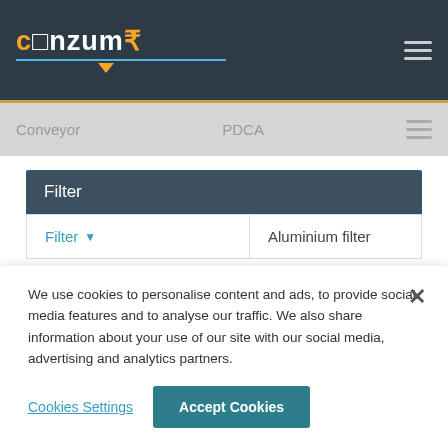Conzumr
Conveyor   PDCA
Filter
Filter ▼   Aluminium filter
Popular ▲   Compare All   View All
We use cookies to personalise content and ads, to provide social media features and to analyse our traffic. We also share information about your use of our site with our social media, advertising and analytics partners.
Cookies Settings   Accept Cookies